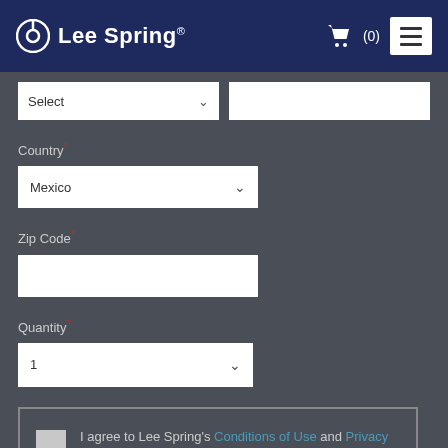Lee Spring
Select (dropdown)
Country
Mexico (selected country)
Zip Code
Quantity
1 (selected quantity)
I agree to Lee Spring's Conditions of Use and Privacy and Cookie Policy